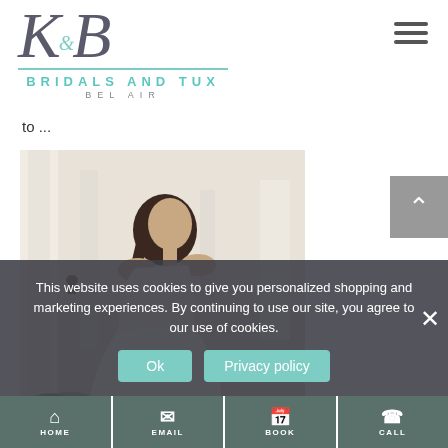[Figure (logo): KB Bridals and Tux Bel Air logo with decorative script initials K&B and teal lettering]
to ...
[Figure (photo): Bride wearing an off-shoulder beaded wedding gown standing outdoors near white columns]
This website uses cookies to give you personalized shopping and marketing experiences. By continuing to use our site, you agree to our use of cookies.
HOME  EMAIL  BOOK  CALL